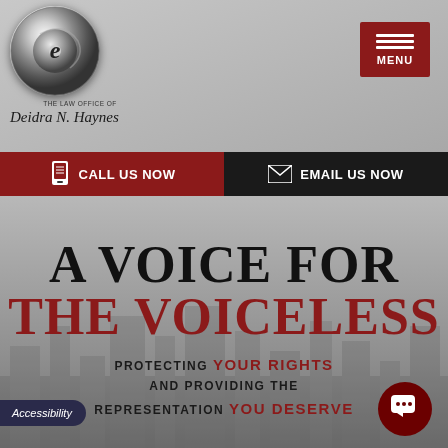[Figure (logo): Circular metallic logo with stylized 'e' and script text 'The Law Office of Deidra N. Haynes']
[Figure (other): Dark red MENU button with three horizontal lines icon]
CALL US NOW
EMAIL US NOW
A VOICE FOR THE VOICELESS
PROTECTING YOUR RIGHTS AND PROVIDING THE REPRESENTATION YOU DESERVE
Accessibility